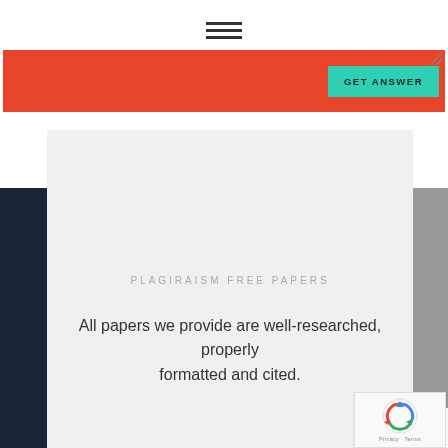≡ (hamburger menu icon)
[Figure (other): Red advertisement banner with green 'GET ANSWER' button and resize icon in top-right corner]
PLAGIRAISM FREE PAPERS
All papers we provide are well-researched, properly formatted and cited.
[Figure (other): reCAPTCHA widget showing spinning arrows logo and 'Privacy - Terms' text]